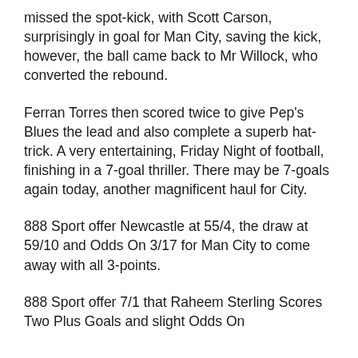missed the spot-kick, with Scott Carson, surprisingly in goal for Man City, saving the kick, however, the ball came back to Mr Willock, who converted the rebound.
Ferran Torres then scored twice to give Pep's Blues the lead and also complete a superb hat-trick. A very entertaining, Friday Night of football, finishing in a 7-goal thriller. There may be 7-goals again today, another magnificent haul for City.
888 Sport offer Newcastle at 55/4, the draw at 59/10 and Odds On 3/17 for Man City to come away with all 3-points.
888 Sport offer 7/1 that Raheem Sterling Scores Two Plus Goals and slight Odds On